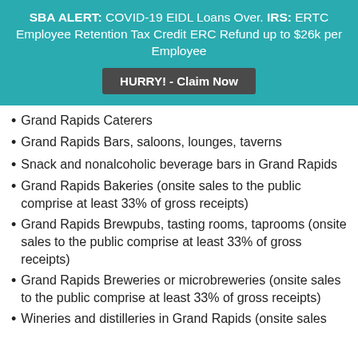SBA ALERT: COVID-19 EIDL Loans Over. IRS: ERTC Employee Retention Tax Credit ERC Refund up to $26k per Employee
HURRY! - Claim Now
Grand Rapids Caterers
Grand Rapids Bars, saloons, lounges, taverns
Snack and nonalcoholic beverage bars in Grand Rapids
Grand Rapids Bakeries (onsite sales to the public comprise at least 33% of gross receipts)
Grand Rapids Brewpubs, tasting rooms, taprooms (onsite sales to the public comprise at least 33% of gross receipts)
Grand Rapids Breweries or microbreweries (onsite sales to the public comprise at least 33% of gross receipts)
Wineries and distilleries in Grand Rapids (onsite sales...